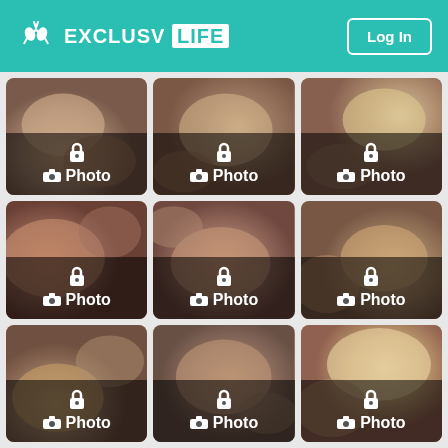EXCLUSV LIFE — Log In
[Figure (screenshot): 9 blurred photo thumbnails in a 3x3 grid, each showing a lock icon and 'Photo' label with camera icon, on the ExclusV Life platform]
Photo
Photo
Photo
Photo
Photo
Photo
Photo
Photo
Photo